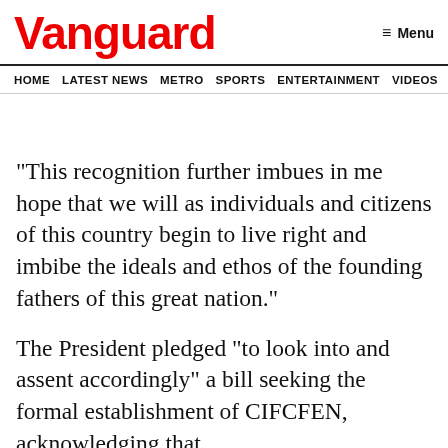Vanguard
HOME   LATEST NEWS   METRO   SPORTS   ENTERTAINMENT   VIDEOS
“This recognition further imbues in me hope that we will as individuals and citizens of this country begin to live right and imbibe the ideals and ethos of the founding fathers of this great nation.”
The President pledged “to look into and assent accordingly” a bill seeking the formal establishment of CIFCFEN, acknowledging that